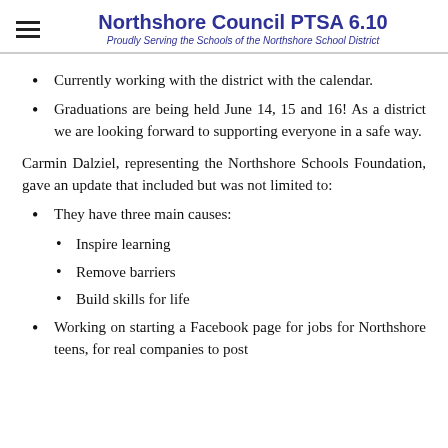Northshore Council PTSA 6.10 — Proudly Serving the Schools of the Northshore School District
Currently working with the district with the calendar.
Graduations are being held June 14, 15 and 16! As a district we are looking forward to supporting everyone in a safe way.
Carmin Dalziel, representing the Northshore Schools Foundation, gave an update that included but was not limited to:
They have three main causes:
Inspire learning
Remove barriers
Build skills for life
Working on starting a Facebook page for jobs for Northshore teens, for real companies to post